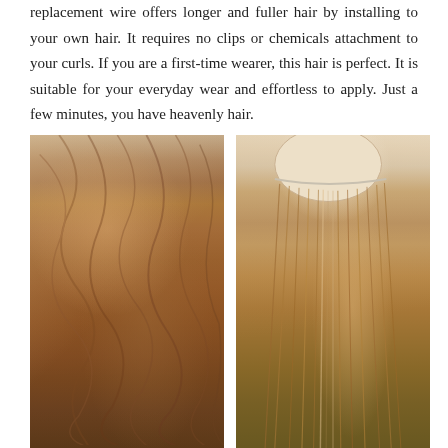replacement wire offers longer and fuller hair by installing to your own hair. It requires no clips or chemicals attachment to your curls. If you are a first-time wearer, this hair is perfect. It is suitable for your everyday wear and effortless to apply. Just a few minutes, you have heavenly hair.
[Figure (photo): Left: back view of a person with long, voluminous wavy auburn/caramel hair extensions styled beautifully. Right: halo hair extension displayed on a mannequin head stand, showing straight auburn hair attached to a clear wire/halo band.]